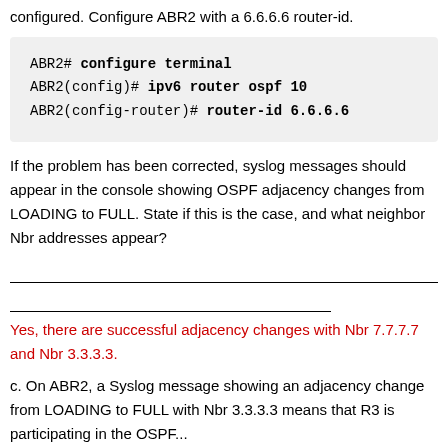configured. Configure ABR2 with a 6.6.6.6 router-id.
ABR2# configure terminal
ABR2(config)# ipv6 router ospf 10
ABR2(config-router)# router-id 6.6.6.6
If the problem has been corrected, syslog messages should appear in the console showing OSPF adjacency changes from LOADING to FULL. State if this is the case, and what neighbor Nbr addresses appear?
Yes, there are successful adjacency changes with Nbr 7.7.7.7 and Nbr 3.3.3.3.
c. On ABR2, a Syslog message showing an adjacency change from LOADING to FULL with Nbr 3.3.3.3 means that R3 is participating in the OSPF...